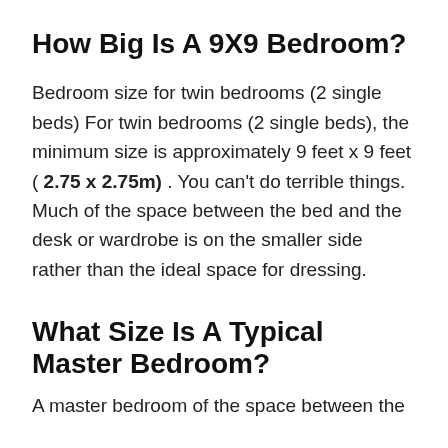How Big Is A 9X9 Bedroom?
Bedroom size for twin bedrooms (2 single beds) For twin bedrooms (2 single beds), the minimum size is approximately 9 feet x 9 feet ( 2.75 x 2.75m) . You can't do terrible things. Much of the space between the bed and the desk or wardrobe is on the smaller side rather than the ideal space for dressing.
What Size Is A Typical Master Bedroom?
A master bedroom...